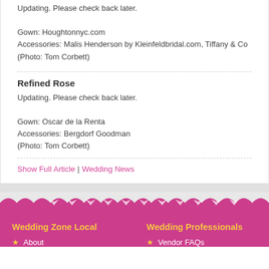Updating. Please check back later.

Gown: Houghtonnyc.com
Accessories: Malis Henderson by Kleinfeldbridal.com, Tiffany & Co
(Photo: Tom Corbett)
Refined Rose
Updating. Please check back later.

Gown: Oscar de la Renta
Accessories: Bergdorf Goodman
(Photo: Tom Corbett)
Show Full Article | Wedding News
Wedding Zone Local
Wedding Professionals
About
Vendor FAQs